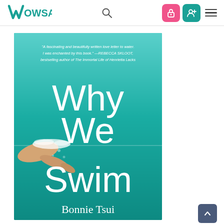WOWSA
[Figure (illustration): Book cover of 'Why We Swim' by Bonnie Tsui. Teal/turquoise background showing an underwater scene with a swimmer's arm and splash at the water surface. White text reads: 'Why We Swim' in large letters, and 'Bonnie Tsui' at the bottom. A quote at the top reads: '"A fascinating and beautifully written love letter to water. I was enchanted by this book." —REBECCA SKLOOT, bestselling author of The Immortal Life of Henrietta Lacks']